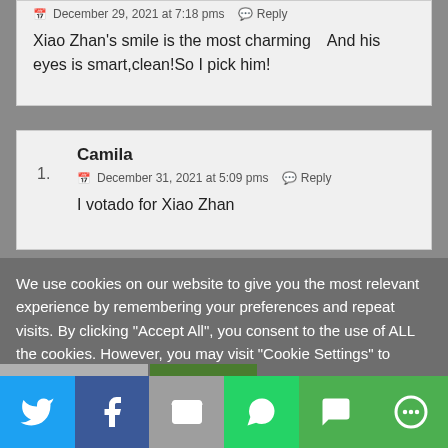December 29, 2021 at 7:18 pms  Reply
Xiao Zhan's smile is the most charming!And his eyes is smart,clean!So I pick him!
1. Camila — December 31, 2021 at 5:09 pms  Reply — I votado for Xiao Zhan
We use cookies on our website to give you the most relevant experience by remembering your preferences and repeat visits. By clicking "Accept All", you consent to the use of ALL the cookies. However, you may visit "Cookie Settings" to provide a controlled consent.